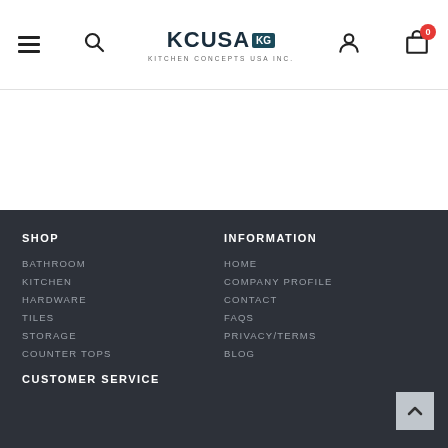KCUSA | Kitchen Concepts USA Inc. — navigation header with hamburger menu, search, user icon, and cart (0)
SHOP
BATHROOM
KITCHEN
HARDWARE
TILES
STORAGE
COUNTER TOPS
INFORMATION
HOME
COMPANY PROFILE
CONTACT
FAQS
PRIVACY/TERMS
BLOG
CUSTOMER SERVICE